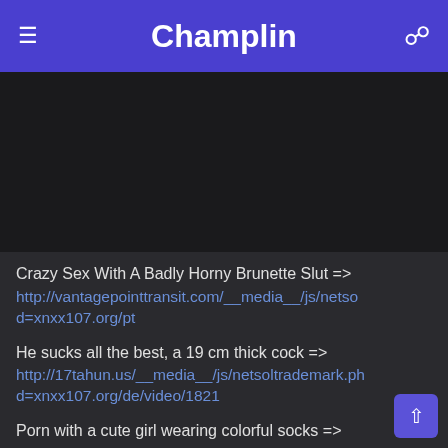Champlin
[Figure (other): Dark/black video player placeholder area]
Crazy Sex With A Badly Horny Brunette Slut => http://vantagepointtransit.com/__media__/js/netsod=xnxx107.org/pt
He sucks all the best, a 19 cm thick cock => http://17tahun.us/__media__/js/netsoltrademark.phd=xnxx107.org/de/video/1821
Porn with a cute girl wearing colorful socks => http://www.abdulaziz.biz/__media__/js/netsoltd=xnxx107.org/it/video/994